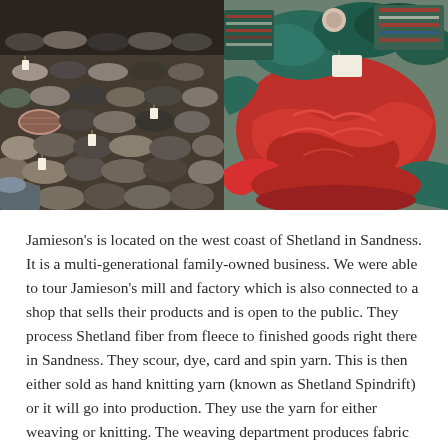[Figure (photo): Two side-by-side photos: left shows rolls of grey, brown, and plaid fabric/wool stacked closely together with price tags; right shows a pile of red, teal, and multicolored textile items bundled together.]
Jamieson's is located on the west coast of Shetland in Sandness. It is a multi-generational family-owned business. We were able to tour Jamieson's mill and factory which is also connected to a shop that sells their products and is open to the public. They process Shetland fiber from fleece to finished goods right there in Sandness. They scour, dye, card and spin yarn. This is then either sold as hand knitting yarn (known as Shetland Spindrift) or it will go into production. They use the yarn for either weaving or knitting. The weaving department produces fabric yardage as well as heavier weight blankets. The knitting department